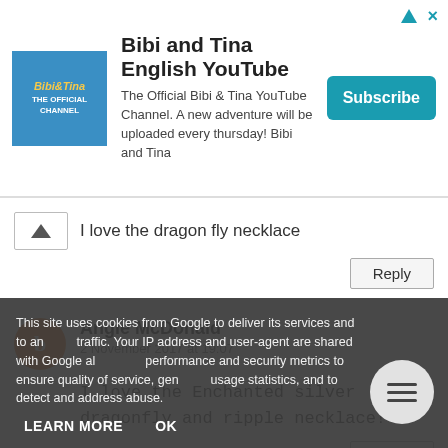[Figure (other): Advertisement banner for Bibi and Tina English YouTube channel with logo, description text, and Subscribe button]
I love the dragon fly necklace
Reply
Angie McDonald
2 November 2017 at 19:07
I love the Enchanted silver dragonfly and ripple necklace!
Reply
This site uses cookies from Google to deliver its services and to analyze traffic. Your IP address and user-agent are shared with Google along with performance and security metrics to ensure quality of service, generate usage statistics, and to detect and address abuse.
LEARN MORE
OK
2 November 2017 at 19:10